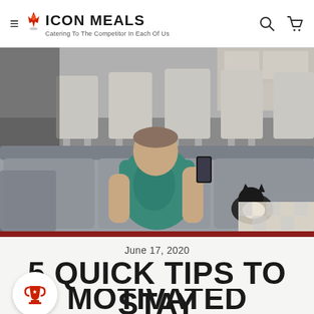Icon Meals — Catering To The Competitor In Each Of Us
[Figure (photo): Man reclining on a gray couch looking at his phone, with a black and white cat beside him. Interior setting with white chairs in the background.]
June 17, 2020
5 QUICK TIPS TO STAY MOTIVATED